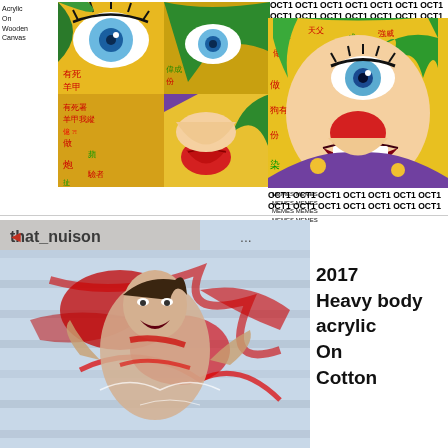Acrylic
On
Wooden
Canvas
[Figure (illustration): Pop art style comic illustration of a woman's face with green hair, blue eyes, and red lips, overlaid with Chinese characters on yellow background, split into panels]
Hong Kong
Police Brutality
Fuck the POPO
LINRS
MEMES MEMES
MEMES MEMES
MEMES MEMES
MEMES MEMES
MEMES MEMES
MEMES MEMES
OCT1 OCT1 OCT1 OCT1 OCT1 OCT1 OCT1
OCT1 OCT1 OCT1 OCT1 OCT1 OCT1 OCT1
[Figure (illustration): Pop art comic style illustration of a woman with green hair, wide open mouth and surprised expression, Chinese characters on yellow background]
OCT1 OCT1 OCT1 OCT1 OCT1 OCT1 OCT1
OCT1 OCT1 OCT1 OCT1 OCT1 OCT1 OCT1
[Figure (photo): Photo mixed with gestural paint strokes of a person with red paint splattered, 'that_nuison' text overlay, chaotic expressive painting on cotton]
2017
Heavy body
acrylic
On
Cotton